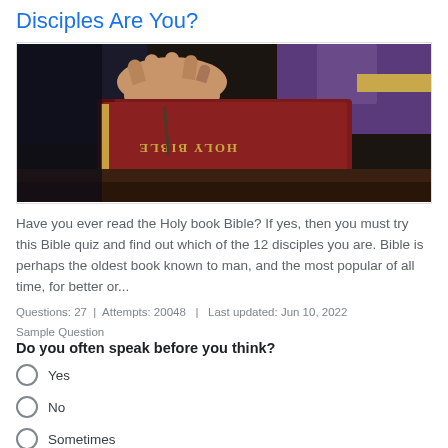Disciples Are You?
[Figure (photo): Hands resting on a Holy Bible book on a wooden surface with purple fabric in background]
Have you ever read the Holy book Bible? If yes, then you must try this Bible quiz and find out which of the 12 disciples you are. Bible is perhaps the oldest book known to man, and the most popular of all time, for better or...
Questions: 27  |  Attempts: 20048  |  Last updated: Jun 10, 2022
Sample Question
Do you often speak before you think?
Yes
No
Sometimes